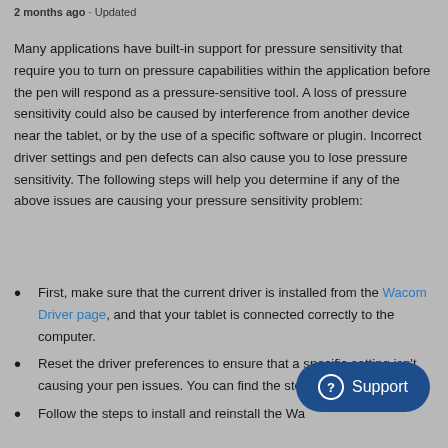2 months ago · Updated
Many applications have built-in support for pressure sensitivity that require you to turn on pressure capabilities within the application before the pen will respond as a pressure-sensitive tool. A loss of pressure sensitivity could also be caused by interference from another device near the tablet, or by the use of a specific software or plugin. Incorrect driver settings and pen defects can also cause you to lose pressure sensitivity. The following steps will help you determine if any of the above issues are causing your pressure sensitivity problem:
First, make sure that the current driver is installed from the Wacom Driver page, and that your tablet is connected correctly to the computer.
Reset the driver preferences to ensure that a specific setting isn't causing your pen issues. You can find the steps here.
Follow the steps to install and reinstall the Wa...